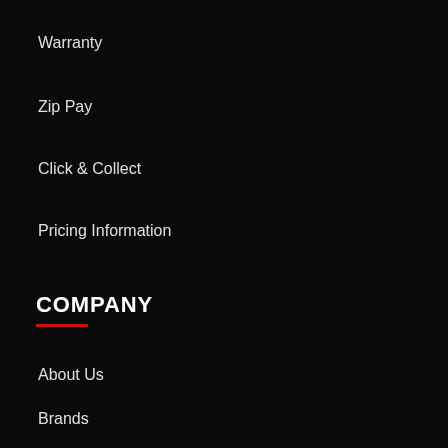Warranty
Zip Pay
Click & Collect
Pricing Information
COMPANY
About Us
Brands
Careers
Finance & Insurance
Service
CONTACT US